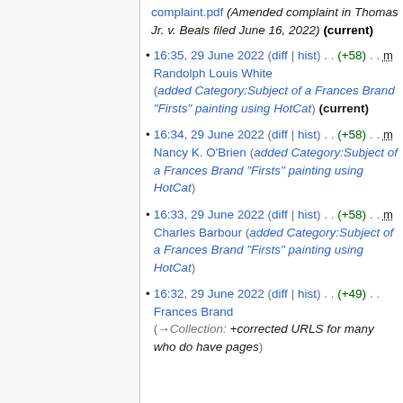complaint.pdf (Amended complaint in Thomas Jr. v. Beals filed June 16, 2022) (current)
16:35, 29 June 2022 (diff | hist) . . (+58) . . m Randolph Louis White (added Category:Subject of a Frances Brand "Firsts" painting using HotCat) (current)
16:34, 29 June 2022 (diff | hist) . . (+58) . . m Nancy K. O'Brien (added Category:Subject of a Frances Brand "Firsts" painting using HotCat)
16:33, 29 June 2022 (diff | hist) . . (+58) . . m Charles Barbour (added Category:Subject of a Frances Brand "Firsts" painting using HotCat)
16:32, 29 June 2022 (diff | hist) . . (+49) . . Frances Brand (→Collection: +corrected URLS for many who do have pages)